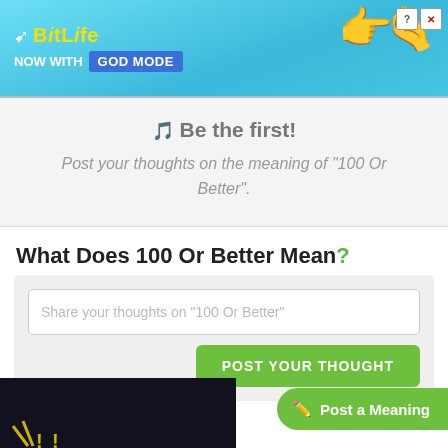[Figure (screenshot): BitLife app advertisement banner - 'NOW WITH GOD MODE' on blue background with cartoon hand and sperm graphic]
🎵 Be the first!
Post your thoughts on the meaning of "100 Or Better".
What Does 100 Or Better Mean?
Share your thoughts on "100 Or Better"
POST YOUR THOUGHT
[Figure (screenshot): Bottom section showing dark background with yellow exclamation marks graphic on left, and green 'Post a Meaning' button on right]